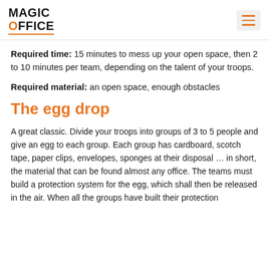MAGIC OFFICE
Required time: 15 minutes to mess up your open space, then 2 to 10 minutes per team, depending on the talent of your troops.
Required material: an open space, enough obstacles
The egg drop
A great classic. Divide your troops into groups of 3 to 5 people and give an egg to each group. Each group has cardboard, scotch tape, paper clips, envelopes, sponges at their disposal … in short, the material that can be found almost any office. The teams must build a protection system for the egg, which shall then be released in the air. When all the groups have built their protection